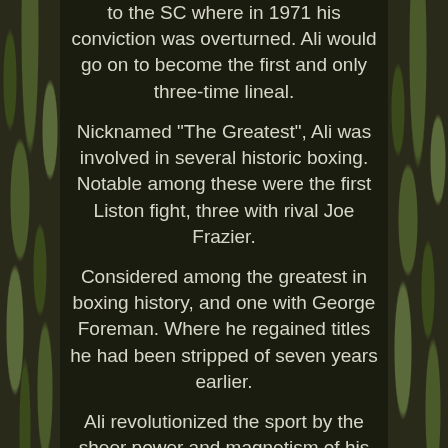to the SC where in 1971 his conviction was overturned. Ali would go on to become the first and only three-time lineal.
Nicknamed "The Greatest", Ali was involved in several historic boxing. Notable among these were the first Liston fight, three with rival Joe Frazier.
Considered among the greatest in boxing history, and one with George Foreman. Where he regained titles he had been stripped of seven years earlier.
Ali revolutionized the sport by the sheer power and magnetism of his personality. At a time when most fighters let their managers do the talking, Ali was articulate, witty and loquacious. He easily controlled press conferences and interviews, spoke freely and intelligently about issues unrelated to boxing and wrote rhymes that humorously denigrated his opponents and predicted the round in which they must fall.
Additionally, I slip all autographed photos inside